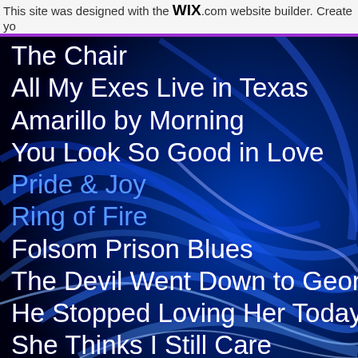This site was designed with the WIX.com website builder. Create yo
The Chair
All My Exes Live in Texas
Amarillo by Morning
You Look So Good in Love
Pride & Joy
Ring of Fire
Folsom Prison Blues
The Devil Went Down to Georgia
He Stopped Loving Her Today
She Thinks I Still Care
Old Flames have New Names